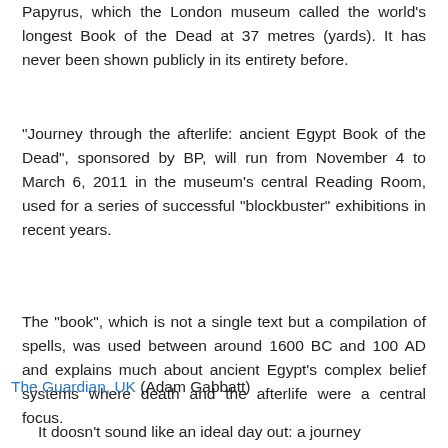Papyrus, which the London museum called the world's longest Book of the Dead at 37 metres (yards). It has never been shown publicly in its entirety before.
"Journey through the afterlife: ancient Egypt Book of the Dead", sponsored by BP, will run from November 4 to March 6, 2011 in the museum's central Reading Room, used for a series of successful "blockbuster" exhibitions in recent years.
The "book", which is not a single text but a compilation of spells, was used between around 1600 BC and 100 AD and explains much about ancient Egypt's complex belief systems where death and the afterlife were a central focus.
The Guardian, UK (Adam Gabbatt)
It doesn't sound like an ideal day out: a journey